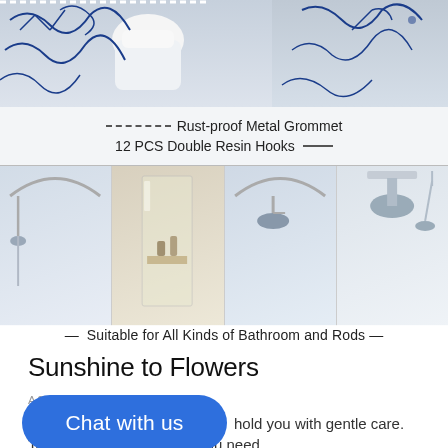[Figure (photo): Product photo showing shower curtain with blue floral/abstract pattern, white toilet, and dashed-line callout labels. Label area shows: Rust-proof Metal Grommet (dashed line), 12 PCS Double Resin Hooks (solid line). Below: four photos of different bathroom and shower rod setups with caption: Suitable for All Kinds of Bathroom and Rods.]
Sunshine to Flowers
AS GOJEEK TO SHOWERS
Give it a try
hold you with gentle care.
To give you the guidance you need,